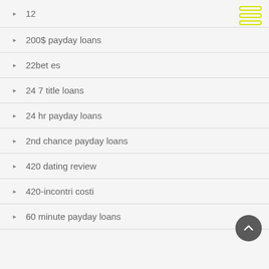12
200$ payday loans
22bet es
24 7 title loans
24 hr payday loans
2nd chance payday loans
420 dating review
420-incontri costi
60 minute payday loans